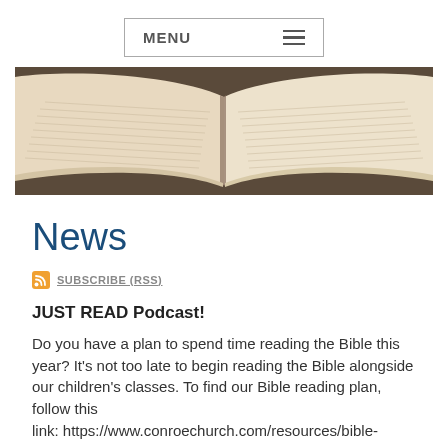MENU
[Figure (photo): An open Bible with pages spread, photographed from above on a dark surface.]
News
SUBSCRIBE (RSS)
JUST READ Podcast!
Do you have a plan to spend time reading the Bible this year? It's not too late to begin reading the Bible alongside our children's classes. To find our Bible reading plan, follow this link: https://www.conroechurch.com/resources/bible-